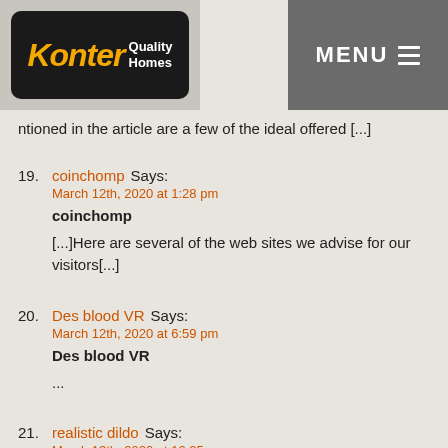Konter Quality Homes | MENU
ntioned in the article are a few of the ideal offered [...]
19. coinchomp Says: March 12th, 2020 at 1:28 pm | coinchomp | [...]Here are several of the web sites we advise for our visitors[...]
20. Des blood VR Says: March 12th, 2020 at 6:59 pm | Des blood VR | ...
21. realistic dildo Says: March 13th, 2020 at 10:25 am | realistic dildo